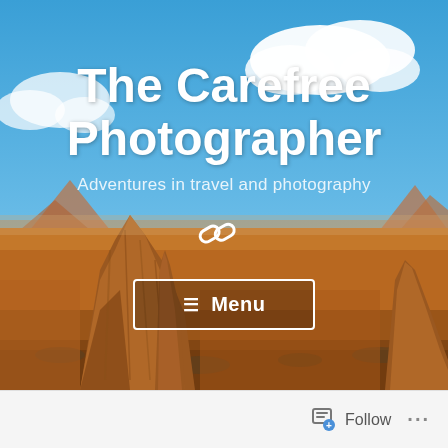[Figure (photo): Desert landscape with red sandstone buttes (Monument Valley style) under a blue sky with white clouds. The foreground shows brown/orange rock formations and desert scrubland.]
The Carefree Photographer
Adventures in travel and photography
Menu
Follow ...